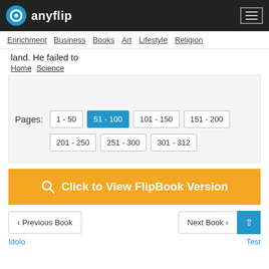anyflip
Enrichment | Business | Books | Art | Lifestyle | Religion
land. He failed to
Home > Science
Pages: 1 - 50 | 51 - 100 | 101 - 150 | 151 - 200 | 201 - 250 | 251 - 300 | 301 - 312
Click to View FlipBook Version
< Previous Book   Next Book >
Idolo   Test